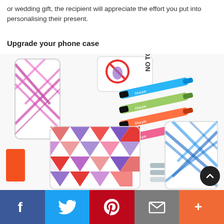or wedding gift, the recipient will appreciate the effort you put into personalising their present.
Upgrade your phone case
[Figure (photo): Photo showing colorful Sharpie markers (blue, green, orange, pink) alongside decorated phone cases with geometric patterns made using tape and marker techniques, plus an eraser and nail files.]
[Figure (infographic): Social media sharing bar with Facebook, Twitter, Pinterest, email, and More buttons.]